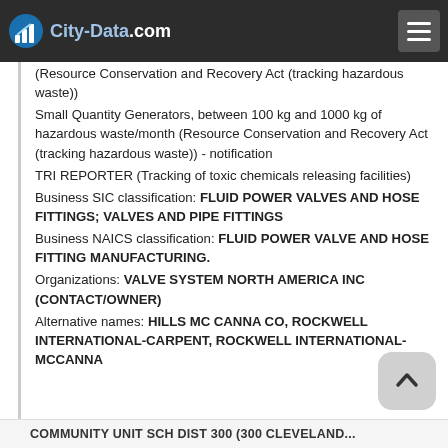City-Data.com
(Resource Conservation and Recovery Act (tracking hazardous waste))
Small Quantity Generators, between 100 kg and 1000 kg of hazardous waste/month (Resource Conservation and Recovery Act (tracking hazardous waste)) - notification
TRI REPORTER (Tracking of toxic chemicals releasing facilities)
Business SIC classification: FLUID POWER VALVES AND HOSE FITTINGS; VALVES AND PIPE FITTINGS
Business NAICS classification: FLUID POWER VALVE AND HOSE FITTING MANUFACTURING.
Organizations: VALVE SYSTEM NORTH AMERICA INC (CONTACT/OWNER)
Alternative names: HILLS MC CANNA CO, ROCKWELL INTERNATIONAL-CARPENT, ROCKWELL INTERNATIONAL-MCCANNA
COMMUNITY UNIT SCH DIST 300 (300 CLEVELAND...